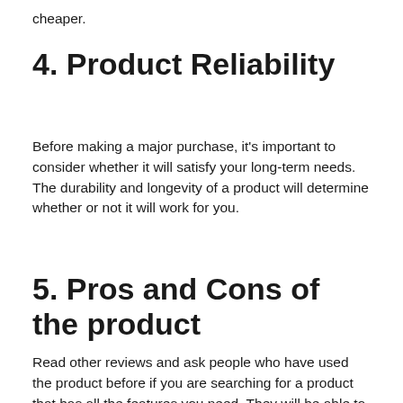cheaper.
4. Product Reliability
Before making a major purchase, it’s important to consider whether it will satisfy your long-term needs. The durability and longevity of a product will determine whether or not it will work for you.
5. Pros and Cons of the product
Read other reviews and ask people who have used the product before if you are searching for a product that has all the features you need. They will be able to give you their